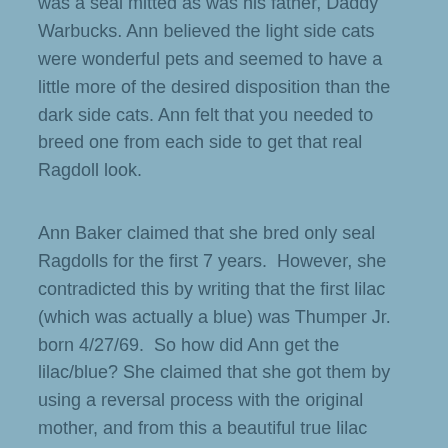was a seal mitted as was his father, Daddy Warbucks. Ann believed the light side cats were wonderful pets and seemed to have a little more of the desired disposition than the dark side cats. Ann felt that you needed to breed one from each side to get that real Ragdoll look.
Ann Baker claimed that she bred only seal Ragdolls for the first 7 years.  However, she contradicted this by writing that the first lilac (which was actually a blue) was Thumper Jr. born 4/27/69.  So how did Ann get the lilac/blue? She claimed that she got them by using a reversal process with the original mother, and from this a beautiful true lilac color was developed. This process was so successful, that the same process was tried on the dark side of the original three, and a black point was developed. She claimed